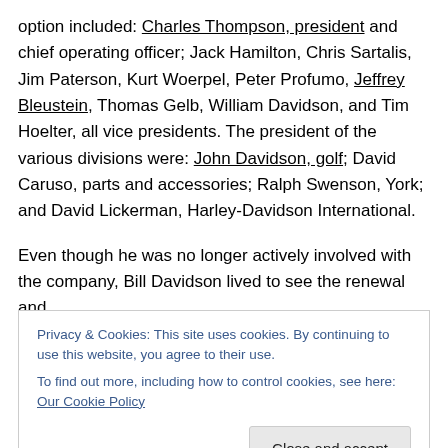option included: Charles Thompson, president and chief operating officer; Jack Hamilton, Chris Sartalis, Jim Paterson, Kurt Woerpel, Peter Profumo, Jeffrey Bleustein, Thomas Gelb, William Davidson, and Tim Hoelter, all vice presidents. The president of the various divisions were: John Davidson, golf; David Caruso, parts and accessories; Ralph Swenson, York; and David Lickerman, Harley-Davidson International.
Even though he was no longer actively involved with the company, Bill Davidson lived to see the renewal and
Privacy & Cookies: This site uses cookies. By continuing to use this website, you agree to their use. To find out more, including how to control cookies, see here: Our Cookie Policy